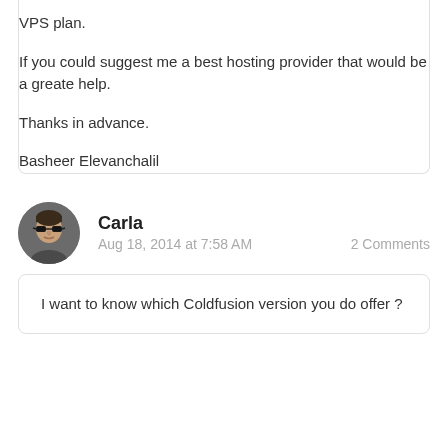VPS plan.

If you could suggest me a best hosting provider that would be a greate help.

Thanks in advance.

Basheer Elevanchalil
Carla
Aug 18, 2014 at 7:58 AM
2 Comments
I want to know which Coldfusion version you do offer ?